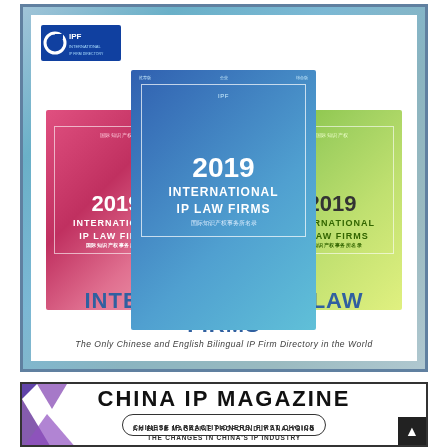[Figure (illustration): Advertisement for '2019 International IP Law Firms' directory showing three book covers (red/pink, blue/teal, yellow/green gradient) with the text 'INTERNATIONAL IP LAW FIRMS' and subtitle 'The Only Chinese and English Bilingual IP Firm Directory in the World'. IPF logo visible at top left of the ad panel.]
[Figure (illustration): Advertisement for 'China IP Magazine' with the tagline 'Chinese IP Practitioners' First Choice' and description 'An Elite Magazine Profoundly Analysing the Changes in China's IP Industry'. Purple decorative triangles visible on left side. Scroll-to-top arrow button on bottom right.]